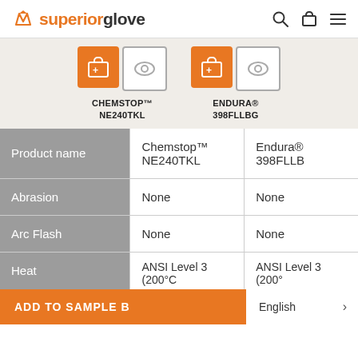Superior Glove
[Figure (other): Product comparison cards with add-to-cart and view buttons for CHEMSTOP™ NE240TKL and ENDURA® 398FLLBG]
CHEMSTOP™ NE240TKL
ENDURA® 398FLLBG
|  | Product 1 | Product 2 |
| --- | --- | --- |
| Product name | Chemstop™ NE240TKL | Endura® 398FLLB |
| Abrasion | None | None |
| Arc Flash | None | None |
| Heat | ANSI Level 3 (200°C | ANSI Level 3 (200° |
ADD TO SAMPLE B...   English >